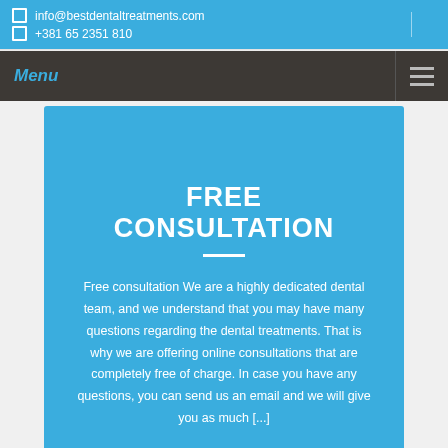info@bestdentaltreatments.com  |  +381 65 2351 810
Menu
FREE CONSULTATION
Free consultation We are a highly dedicated dental team, and we understand that you may have many questions regarding the dental treatments. That is why we are offering online consultations that are completely free of charge. In case you have any questions, you can send us an email and we will give you as much [...]